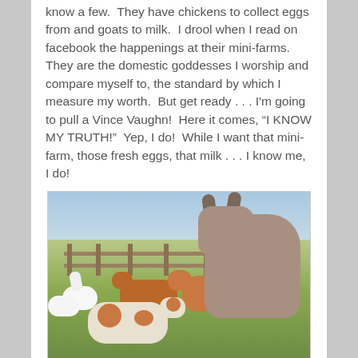know a few.  They have chickens to collect eggs from and goats to milk.  I drool when I read on facebook the happenings at their mini-farms.  They are the domestic goddesses I worship and compare myself to, the standard by which I measure my worth.  But get ready . . . I'm going to pull a Vince Vaughn!  Here it comes, “I KNOW MY TRUTH!”  Yep, I do!  While I want that mini-farm, those fresh eggs, that milk . . . I know me, I do!
[Figure (photo): Farm scene with a donkey in the foreground (right), brown goats, white geese, and a fence in a grassy field with blue sky background.]